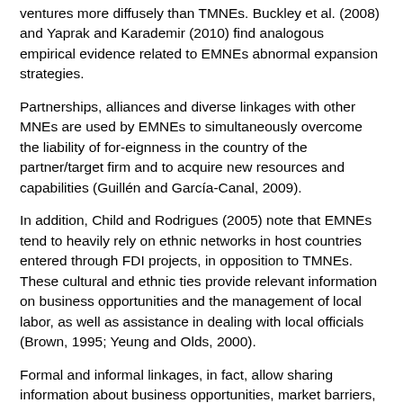ventures more diffusely than TMNEs. Buckley et al. (2008) and Yaprak and Karademir (2010) find analogous empirical evidence related to EMNEs abnormal expansion strategies.
Partnerships, alliances and diverse linkages with other MNEs are used by EMNEs to simultaneously overcome the liability of for-eignness in the country of the partner/target firm and to acquire new resources and capabilities (Guillén and García-Canal, 2009).
In addition, Child and Rodrigues (2005) note that EMNEs tend to heavily rely on ethnic networks in host countries entered through FDI projects, in opposition to TMNEs. These cultural and ethnic ties provide relevant information on business opportunities and the management of local labor, as well as assistance in dealing with local officials (Brown, 1995; Yeung and Olds, 2000).
Formal and informal linkages, in fact, allow sharing information about business opportunities, market barriers, and other potential partners. Persinger et al. (2007) make a step forward, suggesting that these